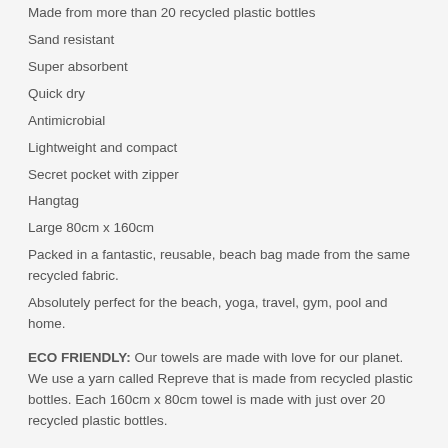Made from more than 20 recycled plastic bottles
Sand resistant
Super absorbent
Quick dry
Antimicrobial
Lightweight and compact
Secret pocket with zipper
Hangtag
Large 80cm x 160cm
Packed in a fantastic, reusable, beach bag made from the same recycled fabric.
Absolutely perfect for the beach, yoga, travel, gym, pool and home.
ECO FRIENDLY: Our towels are made with love for our planet. We use a yarn called Repreve that is made from recycled plastic bottles. Each 160cm x 80cm towel is made with just over 20 recycled plastic bottles.